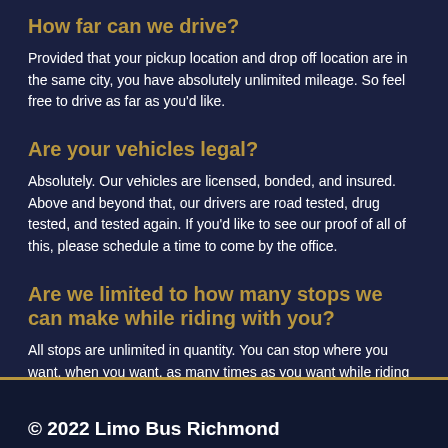How far can we drive?
Provided that your pickup location and drop off location are in the same city, you have absolutely unlimited mileage. So feel free to drive as far as you'd like.
Are your vehicles legal?
Absolutely. Our vehicles are licensed, bonded, and insured. Above and beyond that, our drivers are road tested, drug tested, and tested again. If you'd like to see our proof of all of this, please schedule a time to come by the office.
Are we limited to how many stops we can make while riding with you?
All stops are unlimited in quantity. You can stop where you want, when you want, as many times as you want while riding with us.
About Us
© 2022 Limo Bus Richmond